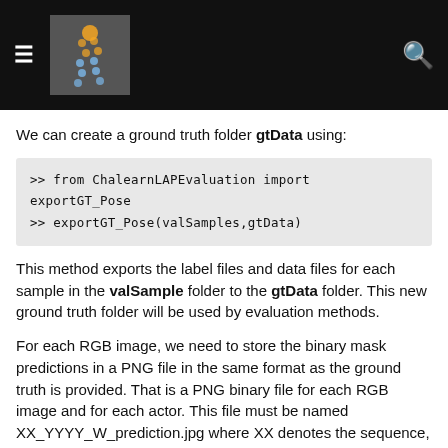[navigation header with hamburger menu, logo, and search icon]
We can create a ground truth folder gtData using:
>> from ChalearnLAPEvaluation import exportGT_Pose
>> exportGT_Pose(valSamples,gtData)
This method exports the label files and data files for each sample in the valSample folder to the gtData folder. This new ground truth folder will be used by evaluation methods.
For each RGB image, we need to store the binary mask predictions in a PNG file in the same format as the ground truth is provided. That is a PNG binary file for each RGB image and for each actor. This file must be named XX_YYYY_W_prediction.jpg where XX denotes the sequence, YYYY denotes the frame, W denotes the actor in the sequence (1 if its at the left part of the image, 2 if its at the right part). To make it easy the class PoseSample...